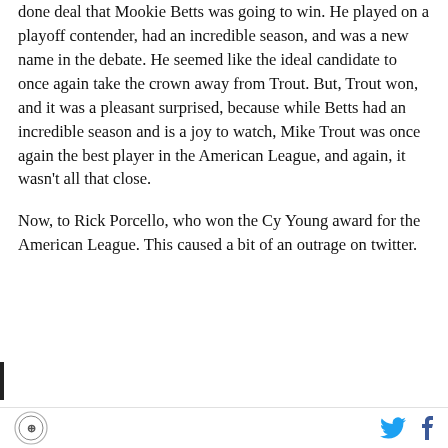done deal that Mookie Betts was going to win. He played on a playoff contender, had an incredible season, and was a new name in the debate. He seemed like the ideal candidate to once again take the crown away from Trout. But, Trout won, and it was a pleasant surprised, because while Betts had an incredible season and is a joy to watch, Mike Trout was once again the best player in the American League, and again, it wasn't all that close.
Now, to Rick Porcello, who won the Cy Young award for the American League. This caused a bit of an outrage on twitter.
[Figure (other): Partial blockquote or tweet preview at bottom of content area]
Logo | Twitter icon | Facebook icon